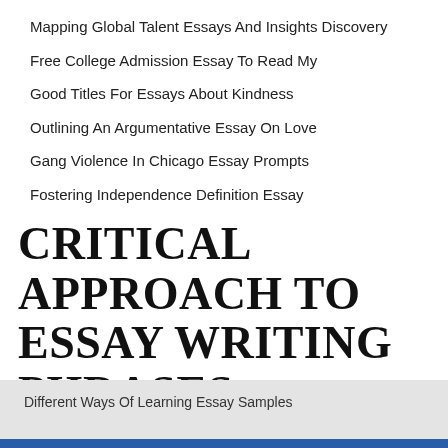Mapping Global Talent Essays And Insights Discovery
Free College Admission Essay To Read My
Good Titles For Essays About Kindness
Outlining An Argumentative Essay On Love
Gang Violence In Chicago Essay Prompts
Fostering Independence Definition Essay
CRITICAL APPROACH TO ESSAY WRITING PHRASES
Different Ways Of Learning Essay Samples